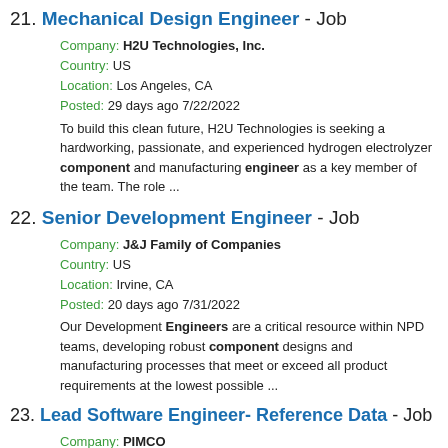21. Mechanical Design Engineer - Job
Company: H2U Technologies, Inc.
Country: US
Location: Los Angeles, CA
Posted: 29 days ago 7/22/2022
To build this clean future, H2U Technologies is seeking a hardworking, passionate, and experienced hydrogen electrolyzer component and manufacturing engineer as a key member of the team. The role ...
22. Senior Development Engineer - Job
Company: J&J Family of Companies
Country: US
Location: Irvine, CA
Posted: 20 days ago 7/31/2022
Our Development Engineers are a critical resource within NPD teams, developing robust component designs and manufacturing processes that meet or exceed all product requirements at the lowest possible ...
23. Lead Software Engineer- Reference Data - Job
Company: PIMCO
Country: US
Location: Newport Beach, CA